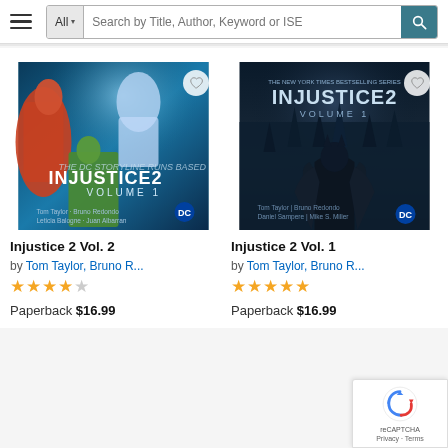[Figure (screenshot): Amazon search bar with hamburger menu, 'All' category dropdown, search input placeholder 'Search by Title, Author, Keyword or ISE', and teal search button with magnifying glass icon]
[Figure (photo): Book cover for Injustice 2 Vol. 2 by Tom Taylor and Bruno Redondo, DC Comics graphic novel]
Injustice 2 Vol. 2
by Tom Taylor, Bruno R...
★★★★☆
Paperback $16.99
[Figure (photo): Book cover for Injustice 2 Vol. 1 by Tom Taylor and Bruno Redondo, Batman dark city scene, DC Comics graphic novel]
Injustice 2 Vol. 1
by Tom Taylor, Bruno R...
★★★★★
Paperback $16.99